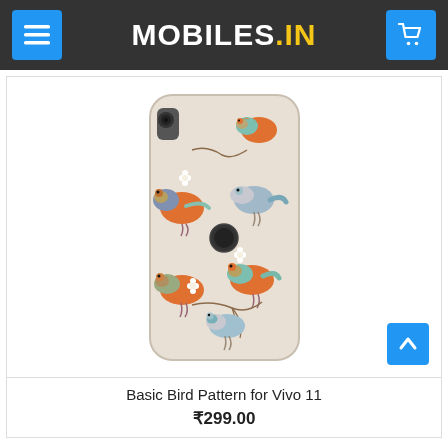MOBILES.IN
[Figure (photo): Phone case with colorful bird pattern design for Vivo 11 smartphone, showing back of phone with multiple illustrated birds in orange, teal, blue, and neutral tones on a cream background]
Basic Bird Pattern for Vivo 11
₹299.00